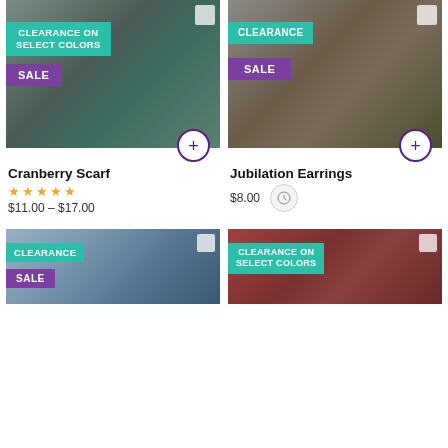[Figure (photo): Woman wearing teal headscarf and dark jacket, smiling, with clearance on select colors badge and sale badge]
Cranberry Scarf
★★★★★
$11.00 – $17.00
[Figure (photo): Woman wearing gray hat with large silver filigree earring, with clearance badge and sale badge]
Jubilation Earrings
$8.00
[Figure (photo): Blue and white striped fabric/scarf with clearance badge and sale badge]
[Figure (photo): Woman in maroon/burgundy clothing against brick wall with clearance on select colors badge]